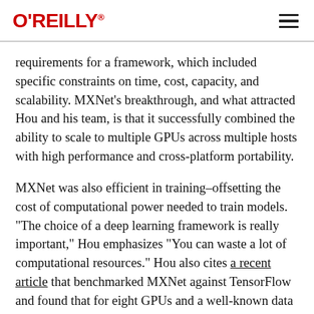O'REILLY
requirements for a framework, which included specific constraints on time, cost, capacity, and scalability. MXNet's breakthrough, and what attracted Hou and his team, is that it successfully combined the ability to scale to multiple GPUs across multiple hosts with high performance and cross-platform portability.
MXNet was also efficient in training–offsetting the cost of computational power needed to train models. "The choice of a deep learning framework is really important," Hou emphasizes "You can waste a lot of computational resources." Hou also cites a recent article that benchmarked MXNet against TensorFlow and found that for eight GPUs and a well-known data set called CIFAR-10, MXNet was significantly faster, much more memory-efficient and accurate than TensorFlow.